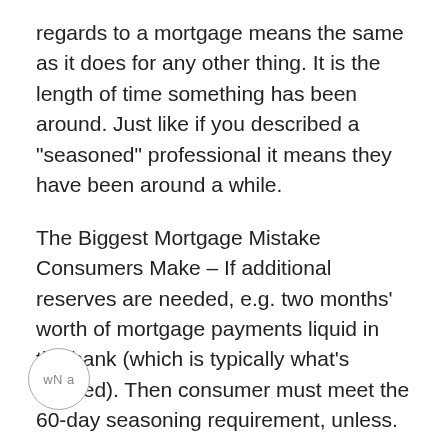regards to a mortgage means the same as it does for any other thing. It is the length of time something has been around. Just like if you described a "seasoned" professional it means they have been around a while.
The Biggest Mortgage Mistake Consumers Make – If additional reserves are needed, e.g. two months' worth of mortgage payments liquid in the bank (which is typically what's needed). Then consumer must meet the 60-day seasoning requirement, unless.
FHA Requirements: Credit Guidelines – FHA requirements are structured so that loan applicants who have a good credit history will likely be eligible for the mortgage. Late payments, bankruptcies, no credit history, and foreclosures will adversely affect your chances.
FHA Requirements: Credit Guidelines (continued)